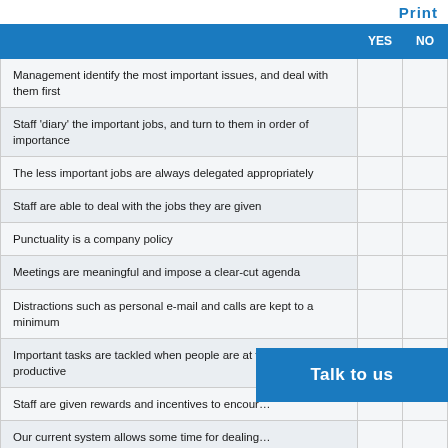Print
|  | YES | NO |
| --- | --- | --- |
| Management identify the most important issues, and deal with them first |  |  |
| Staff 'diary' the important jobs, and turn to them in order of importance |  |  |
| The less important jobs are always delegated appropriately |  |  |
| Staff are able to deal with the jobs they are given |  |  |
| Punctuality is a company policy |  |  |
| Meetings are meaningful and impose a clear-cut agenda |  |  |
| Distractions such as personal e-mail and calls are kept to a minimum |  |  |
| Important tasks are tackled when people are at their most productive |  |  |
| Staff are given rewards and incentives to encour… |  |  |
| Our current system allows some time for dealing… |  |  |
Talk to us